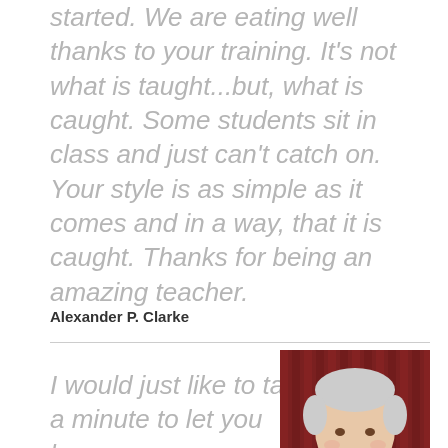started. We are eating well thanks to your training. It's not what is taught...but, what is caught. Some students sit in class and just can't catch on. Your style is as simple as it comes and in a way, that it is caught. Thanks for being an amazing teacher.
Alexander P. Clarke
I would just like to take a minute to let you know
[Figure (photo): Headshot of an older man with white hair, smiling, wearing a white shirt, against a red striped background]